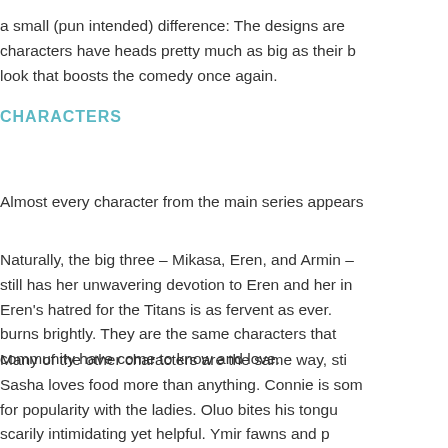a small (pun intended) difference: The designs are characters have heads pretty much as big as their b look that boosts the comedy once again.
CHARACTERS
Almost every character from the main series appears
Naturally, the big three – Mikasa, Eren, and Armin – still has her unwavering devotion to Eren and her in Eren's hatred for the Titans is as fervent as ever. burns brightly. They are the same characters that community have come to know and love.
Many of the other characters are the same way, sti Sasha loves food more than anything. Connie is som for popularity with the ladies. Oluo bites his tongu scarily intimidating yet helpful. Ymir fawns and p continues being the nicest person imaginable (and standoffish, Hange is slightly insane, and Hannah and